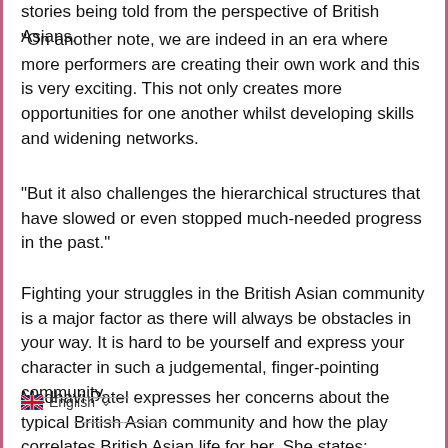stories being told from the perspective of British Asians.
"On another note, we are indeed in an era where more performers are creating their own work and this is very exciting. This not only creates more opportunities for one another whilst developing skills and widening networks.
"But it also challenges the hierarchical structures that have slowed or even stopped much-needed progress in the past."
Fighting your struggles in the British Asian community is a major factor as there will always be obstacles in your way. It is hard to be yourself and express your character in such a judgemental, finger-pointing community.
Madhavi Patel expresses her concerns about the typical British Asian community and how the play correlates British Asian life for her. She states: